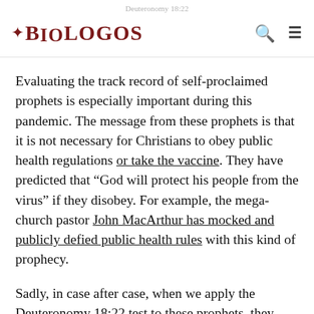Deuteronomy 18:22
Evaluating the track record of self-proclaimed prophets is especially important during this pandemic. The message from these prophets is that it is not necessary for Christians to obey public health regulations or take the vaccine. They have predicted that “God will protect his people from the virus” if they disobey. For example, the mega-church pastor John MacArthur has mocked and publicly defied public health rules with this kind of prophecy.
Sadly, in case after case, when we apply the Deuteronomy 18:22 test to these prophets, they have failed the test. Their predictions that God would protect everyone who rejects public health